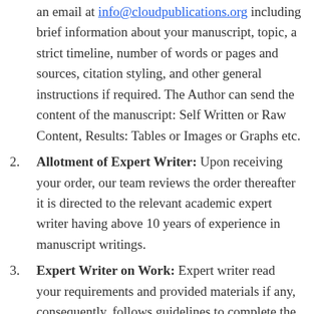an email at info@cloudpublications.org including brief information about your manuscript, topic, a strict timeline, number of words or pages and sources, citation styling, and other general instructions if required. The Author can send the content of the manuscript: Self Written or Raw Content, Results: Tables or Images or Graphs etc.
2. Allotment of Expert Writer: Upon receiving your order, our team reviews the order thereafter it is directed to the relevant academic expert writer having above 10 years of experience in manuscript writings.
3. Expert Writer on Work: Expert writer read your requirements and provided materials if any, consequently, follows guidelines to complete the write-up. The writer decides a topic, carrying out research to compile the raw content, create an outline for the document, writing a rough draft, writing a final